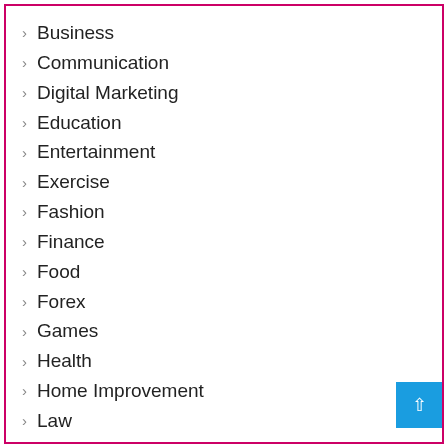Business
Communication
Digital Marketing
Education
Entertainment
Exercise
Fashion
Finance
Food
Forex
Games
Health
Home Improvement
Law